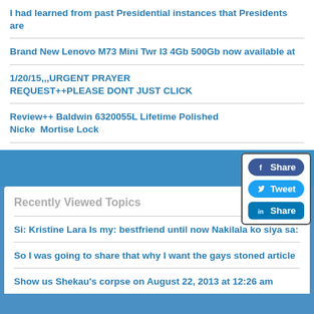I had learned from past Presidential instances that Presidents are
Brand New Lenovo M73 Mini Twr I3 4Gb 500Gb now available at
1/20/15,,,URGENT PRAYER REQUEST++PLEASE DONT JUST CLICK
[Figure (infographic): Social sharing button panel with Facebook Share, Tweet, and LinkedIn Share buttons]
Review++ Baldwin 6320055L Lifetime Polished Nickel Mortise Lock
Recently Viewed Topics
Si: Kristine Lara Is my: bestfriend until now Nakilala ko siya sa:
So I was going to share that why I want the gays stoned article
Show us Shekau's corpse on August 22, 2013 at 12:26 am